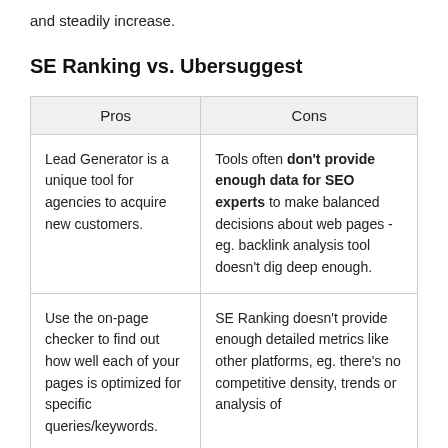and steadily increase.
SE Ranking vs. Ubersuggest
| Pros | Cons |
| --- | --- |
| Lead Generator is a unique tool for agencies to acquire new customers. | Tools often don't provide enough data for SEO experts to make balanced decisions about web pages - eg. backlink analysis tool doesn't dig deep enough. |
| Use the on-page checker to find out how well each of your pages is optimized for specific queries/keywords. | SE Ranking doesn't provide enough detailed metrics like other platforms, eg. there's no competitive density, trends or analysis of |